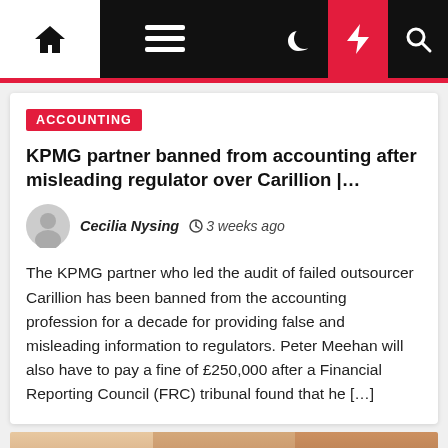Navigation bar with home, menu, moon, flash, and search icons
ACCOUNTING
KPMG partner banned from accounting after misleading regulator over Carillion |…
Cecilia Nysing  3 weeks ago
The KPMG partner who led the audit of failed outsourcer Carillion has been banned from the accounting profession for a decade for providing false and misleading information to regulators. Peter Meehan will also have to pay a fine of £250,000 after a Financial Reporting Council (FRC) tribunal found that he […]
[Figure (photo): Bottom portion showing tops of heads/hair of three people in a photograph strip]